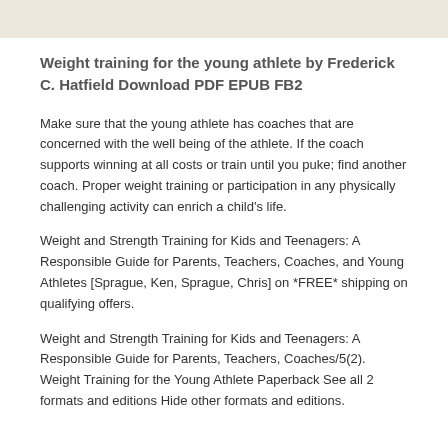Weight training for the young athlete by Frederick C. Hatfield Download PDF EPUB FB2
Make sure that the young athlete has coaches that are concerned with the well being of the athlete. If the coach supports winning at all costs or train until you puke; find another coach. Proper weight training or participation in any physically challenging activity can enrich a child's life.
Weight and Strength Training for Kids and Teenagers: A Responsible Guide for Parents, Teachers, Coaches, and Young Athletes [Sprague, Ken, Sprague, Chris] on *FREE* shipping on qualifying offers.
Weight and Strength Training for Kids and Teenagers: A Responsible Guide for Parents, Teachers, Coaches/5(2). Weight Training for the Young Athlete Paperback See all 2 formats and editions Hide other formats and editions.